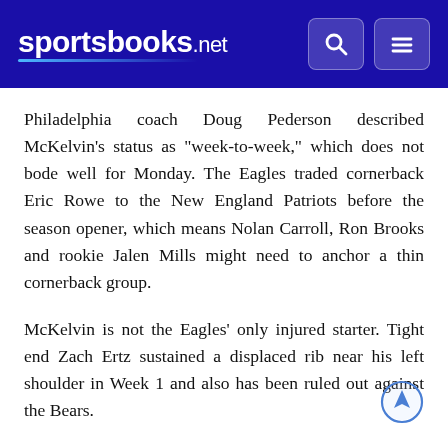sportsbooks.net
Philadelphia coach Doug Pederson described McKelvin’s status as “week-to-week,” which does not bode well for Monday. The Eagles traded cornerback Eric Rowe to the New England Patriots before the season opener, which means Nolan Carroll, Ron Brooks and rookie Jalen Mills might need to anchor a thin cornerback group.
McKelvin is not the Eagles’ only injured starter. Tight end Zach Ertz sustained a displaced rib near his left shoulder in Week 1 and also has been ruled out against the Bears.